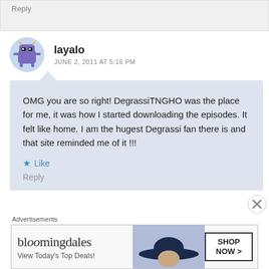Reply
[Figure (illustration): Avatar icon of a cartoon purple robot/monster with horns on a light blue circular background]
layalo
JUNE 2, 2011 AT 5:16 PM
OMG you are so right! DegrassiTNGHO was the place for me, it was how I started downloading the episodes. It felt like home. I am the hugest Degrassi fan there is and that site reminded me of it !!!
Like
Reply
Advertisements
[Figure (screenshot): Bloomingdales advertisement banner showing logo, 'View Today's Top Deals!' text, image of woman in hat, and SHOP NOW button]